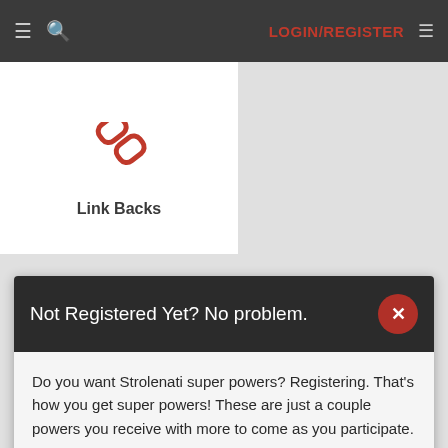≡  🔍  LOGIN/REGISTER  ≡
Link Backs
Not Registered Yet? No problem.
Do you want Strolenati super powers? Registering. That's how you get super powers! These are just a couple powers you receive with more to come as you participate.
Upvote and give XP to encourage useful comments.
Work on submissions in private or flag them for assistance.